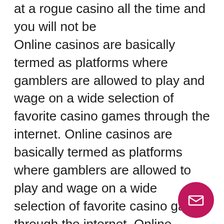at a rogue casino all the time and you will not be Online casinos are basically termed as platforms where gamblers are allowed to play and wage on a wide selection of favorite casino games through the internet. Online casinos are basically termed as platforms where gamblers are allowed to play and wage on a wide selection of favorite casino games through the internet. Online casinos can be defined as platforms that lets online gamblers play and bet on a wide variety of favorite casino games using the internet. Online casinos can be defined as platforms where gamblers are allowed to play and wage on a wide selection of favorite casino games through the internet, what are the best slot machines to play to win. Online casinos can be defined as platforms that allow gamblers play and wage on a wide selection of favorite casino games through the internet.
[Figure (other): Pink/magenta circular email button with envelope icon in bottom right corner]